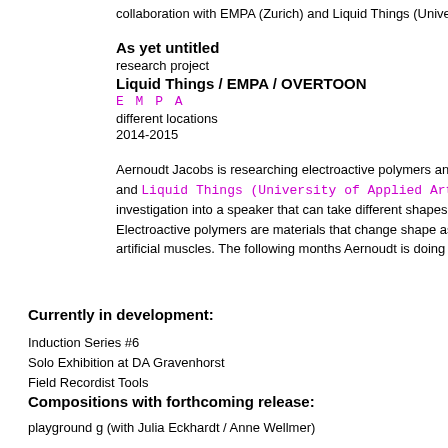collaboration with EMPA (Zurich) and Liquid Things (University of App
As yet untitled
research project
Liquid Things / EMPA / OVERTOON
E M P A
different locations
2014-2015
Aernoudt Jacobs is researching electroactive polymers and other me and Liquid Things (University of Applied Arts in investigation into a speaker that can take different shapes and can a Electroactive polymers are materials that change shape as it gets su artificial muscles. The following months Aernoudt is doing different re
Currently in development:
Induction Series #6
Solo Exhibition at DA Gravenhorst
Field Recordist Tools
Compositions with forthcoming release:
playground g (with Julia Eckhardt / Anne Wellmer)